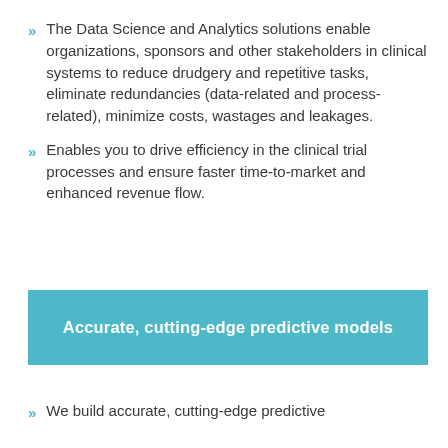The Data Science and Analytics solutions enable organizations, sponsors and other stakeholders in clinical systems to reduce drudgery and repetitive tasks, eliminate redundancies (data-related and process-related), minimize costs, wastages and leakages.
Enables you to drive efficiency in the clinical trial processes and ensure faster time-to-market and enhanced revenue flow.
Accurate, cutting-edge predictive models
We build accurate, cutting-edge predictive